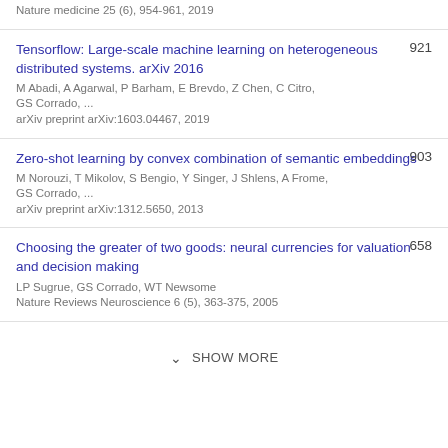Nature medicine 25 (6), 954-961, 2019
Tensorflow: Large-scale machine learning on heterogeneous distributed systems. arXiv 2016
M Abadi, A Agarwal, P Barham, E Brevdo, Z Chen, C Citro, GS Corrado, ...
arXiv preprint arXiv:1603.04467, 2019
921
Zero-shot learning by convex combination of semantic embeddings
M Norouzi, T Mikolov, S Bengio, Y Singer, J Shlens, A Frome, GS Corrado, ...
arXiv preprint arXiv:1312.5650, 2013
903
Choosing the greater of two goods: neural currencies for valuation and decision making
LP Sugrue, GS Corrado, WT Newsome
Nature Reviews Neuroscience 6 (5), 363-375, 2005
658
SHOW MORE